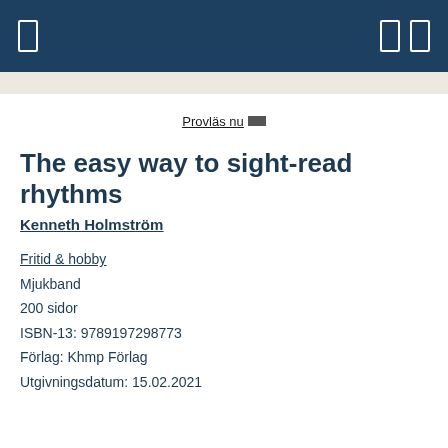Provläs nu
The easy way to sight-read rhythms
Kenneth Holmström
Fritid & hobby
Mjukband
200 sidor
ISBN-13: 9789197298773
Förlag: Khmp Förlag
Utgivningsdatum: 15.02.2021